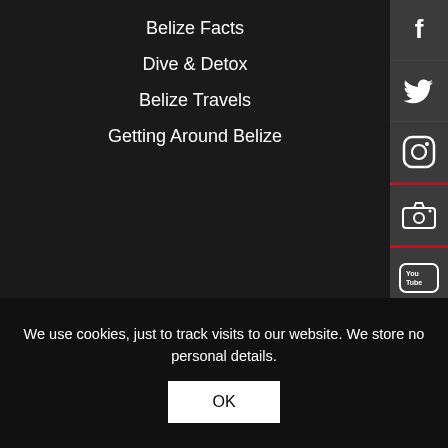Belize Facts
Dive & Detox
Belize Travels
Getting Around Belize
[Figure (other): Social media sidebar icons: Facebook, Twitter, Instagram, Camera, YouTube, Apple]
Belize Boutique Resort & Spa - VERIFIED GUEST REVIEWS ★★★★★
We use cookies, just to track visits to our website. We store no personal details.
OK